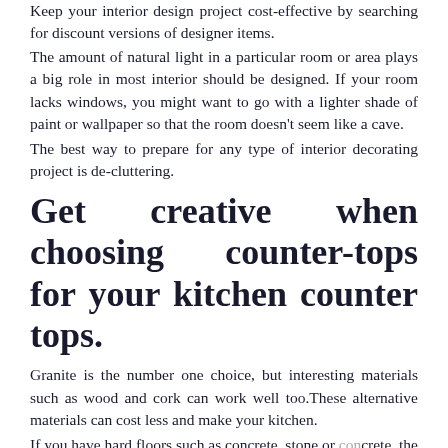Keep your interior design project cost-effective by searching for discount versions of designer items.
The amount of natural light in a particular room or area plays a big role in most interior should be designed. If your room lacks windows, you might want to go with a lighter shade of paint or wallpaper so that the room doesn't seem like a cave.
The best way to prepare for any type of interior decorating project is de-cluttering.
Get creative when choosing counter-tops for your kitchen counter tops.
Granite is the number one choice, but interesting materials such as wood and cork can work well too.These alternative materials can cost less and make your kitchen.
If you have hard floors such as concrete, stone or concrete, the use of stylish area rugs will make your room seem cozier and warmer to your feet. Rotate rugs regularly to keep wear and coordinated aspect to your room.